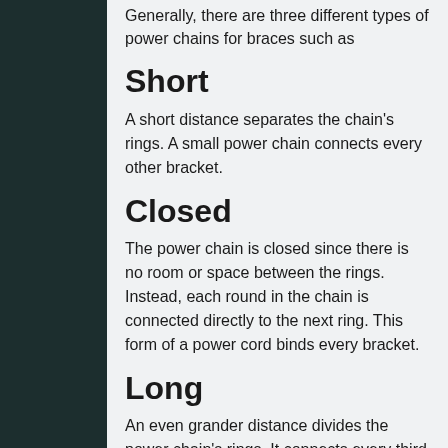Generally, there are three different types of power chains for braces such as
Short
A short distance separates the chain's rings. A small power chain connects every other bracket.
Closed
The power chain is closed since there is no room or space between the rings. Instead, each round in the chain is connected directly to the next ring. This form of a power cord binds every bracket.
Long
An even grander distance divides the power chain's rings. It connects every third